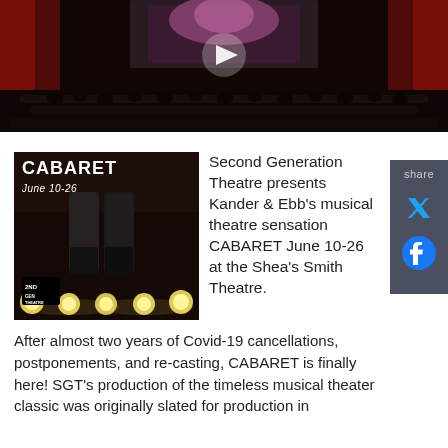[Figure (screenshot): Video thumbnail showing a dark theatre stage with audience seating in the foreground, red curtains, and a bright screen/performer on stage with a play button overlay]
[Figure (photo): Promotional image for CABARET by 2nd Gen Theatre, showing a performer's boots and legs on stage with footlights, text reads CABARET June 10-26 with 2ND GEN THEATRE logo]
Second Generation Theatre presents Kander & Ebb's musical theatre sensation CABARET June 10-26 at the Shea's Smith Theatre.
After almost two years of Covid-19 cancellations, postponements, and re-casting, CABARET is finally here! SGT's production of the timeless musical theater classic was originally slated for production in